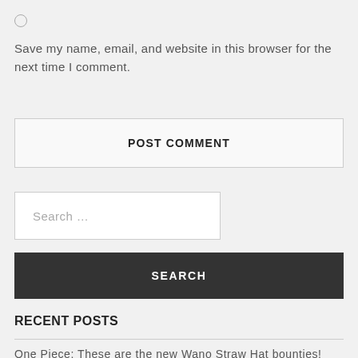○
Save my name, email, and website in this browser for the next time I comment.
POST COMMENT
Search …
SEARCH
RECENT POSTS
One Piece: These are the new Wano Straw Hat bounties!